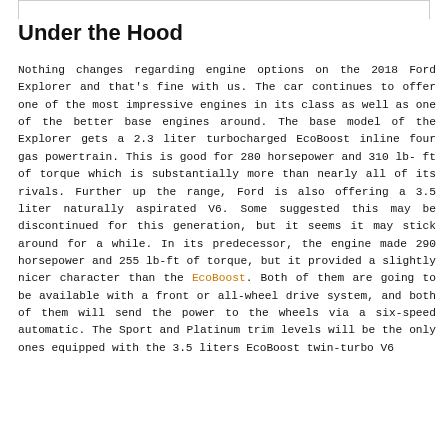Under the Hood
Nothing changes regarding engine options on the 2018 Ford Explorer and that's fine with us. The car continues to offer one of the most impressive engines in its class as well as one of the better base engines around. The base model of the Explorer gets a 2.3 liter turbocharged EcoBoost inline four gas powertrain. This is good for 280 horsepower and 310 lb-ft of torque which is substantially more than nearly all of its rivals. Further up the range, Ford is also offering a 3.5 liter naturally aspirated V6. Some suggested this may be discontinued for this generation, but it seems it may stick around for a while. In its predecessor, the engine made 290 horsepower and 255 lb-ft of torque, but it provided a slightly nicer character than the EcoBoost. Both of them are going to be available with a front or all-wheel drive system, and both of them will send the power to the wheels via a six-speed automatic. The Sport and Platinum trim levels will be the only ones equipped with the 3.5 liters EcoBoost twin-turbo V6